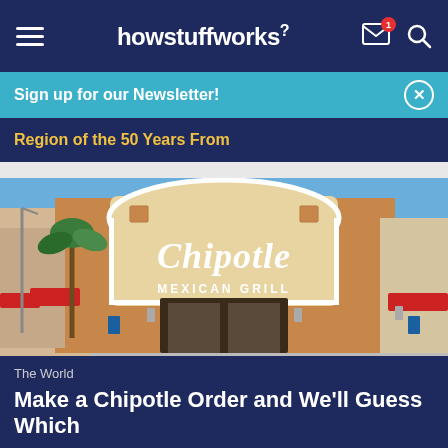howstuffworks
Sign up for our Newsletter!
Region of the 50 Years From
[Figure (photo): Chipotle Mexican Grill restaurant exterior with tan brick facade, arched sign, red umbrellas on outdoor patio, blue sky]
The World
Make a Chipotle Order and We'll Guess Which